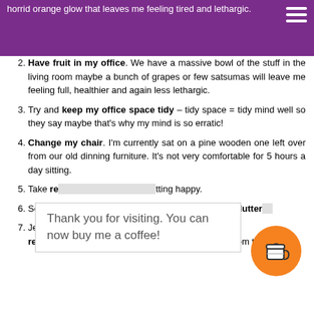horrid orange glow that leaves me feeling tired and lethargic.
Have fruit in my office. We have a massive bowl of the stuff in the living room maybe a bunch of grapes or few satsumas will leave me feeling full, healthier and again less lethargic.
Try and keep my office space tidy – tidy space = tidy mind well so they say maybe that's why my mind is so erratic!
Change my chair. I'm currently sat on a pine wooden one left over from our old dinning furniture. It's not very comfortable for 5 hours a day sitting.
Take re[gular breaks and keep fi]tting happy.
Sort ou[t my computer desktop — all those sh]ooters aren't clutter[...]
Jen fr[om ... is] using [li]ght reflecting paints and mirrors to bounce the light from the
Thank you for visiting. You can now buy me a coffee!